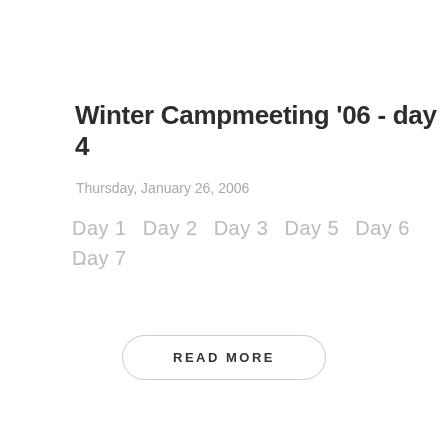Winter Campmeeting '06 - day 4
Thursday, January 26, 2006
Day 1   Day 2   Day 3   Day 5   Day 6   Day 7
...
READ MORE